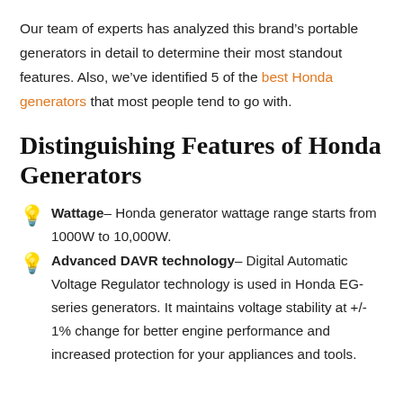Our team of experts has analyzed this brand’s portable generators in detail to determine their most standout features. Also, we’ve identified 5 of the best Honda generators that most people tend to go with.
Distinguishing Features of Honda Generators
Wattage– Honda generator wattage range starts from 1000W to 10,000W.
Advanced DAVR technology– Digital Automatic Voltage Regulator technology is used in Honda EG-series generators. It maintains voltage stability at +/- 1% change for better engine performance and increased protection for your appliances and tools.